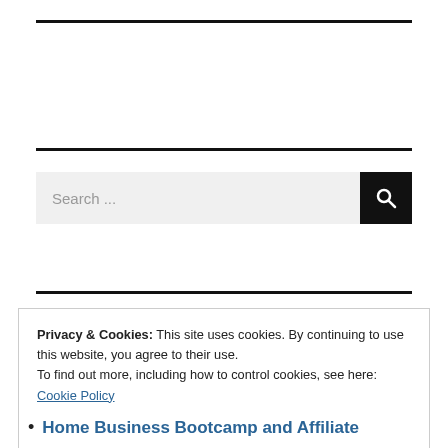[Figure (other): Search bar with text input field labeled 'Search ...' and a dark search button with magnifying glass icon]
Privacy & Cookies: This site uses cookies. By continuing to use this website, you agree to their use.
To find out more, including how to control cookies, see here: Cookie Policy
Close and accept
Home Business Bootcamp and Affiliate